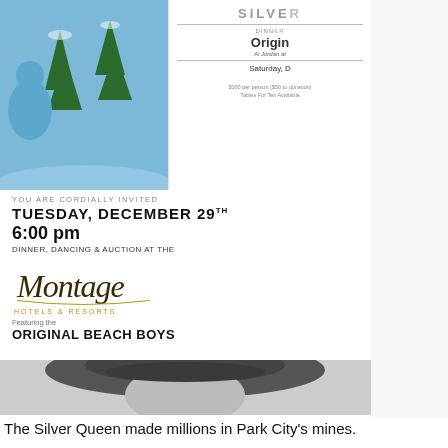[Figure (photo): Partial view of a person in blue with trees/snow background (top-left photo, partially cropped)]
[Figure (photo): Event invitation card showing Silver Queen event details, Montage Hotels & Resorts, Original Beach Boys, Tuesday December 29th, 6:00 pm]
You are cordially invited
Tuesday, December 29th
6:00 pm
Dinner, Dancing & Auction at the
[Figure (logo): Montage Hotels & Resorts logo in script/cursive gold lettering]
Featuring the
Original Beach Boys
[Figure (photo): Black and white photograph of a woman wearing a large hat, with her hand near her face, wearing fur — the Silver Queen]
The Silver Queen made millions in Park City's mines.